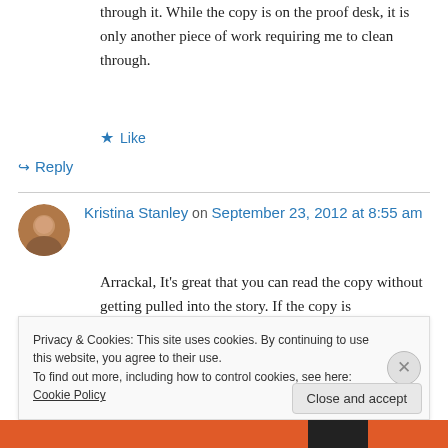through it. While the copy is on the proof desk, it is only another piece of work requiring me to clean through.
Like
Reply
Kristina Stanley on September 23, 2012 at 8:55 am
Arrackal, It's great that you can read the copy without getting pulled into the story. If the copy is
Privacy & Cookies: This site uses cookies. By continuing to use this website, you agree to their use.
To find out more, including how to control cookies, see here: Cookie Policy
Close and accept